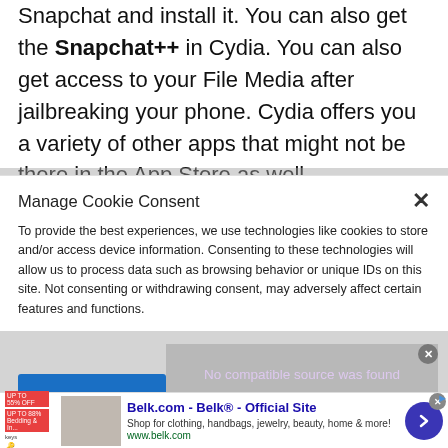Snapchat and install it. You can also get the Snapchat++ in Cydia. You can also get access to your File Media after jailbreaking your phone. Cydia offers you a variety of other apps that might not be there in the App Store as well.
Manage Cookie Consent
To provide the best experiences, we use technologies like cookies to store and/or access device information. Consenting to these technologies will allow us to process data such as browsing behavior or unique IDs on this site. Not consenting or withdrawing consent, may adversely affect certain features and functions.
[Figure (screenshot): Video player placeholder showing 'No compatible source was found' message on grey background]
[Figure (screenshot): Advertisement banner for Belk.com - Belk Official Site showing clothing/handbags store ad with thumbnail image and arrow button]